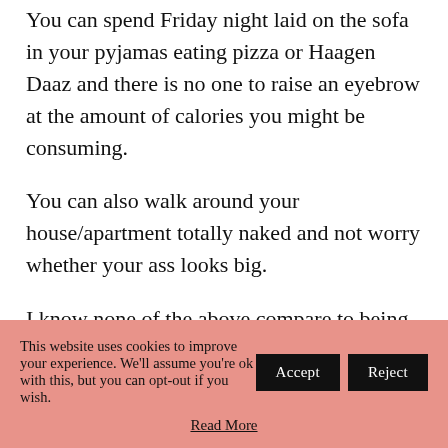You can spend Friday night laid on the sofa in your pyjamas eating pizza or Haagen Daaz and there is no one to raise an eyebrow at the amount of calories you might be consuming.
You can also walk around your house/apartment totally naked and not worry whether your ass looks big.
I know none of the above compare to being in love, but at the risk of repeating myself,
This website uses cookies to improve your experience. We'll assume you're ok with this, but you can opt-out if you wish. Accept Reject Read More